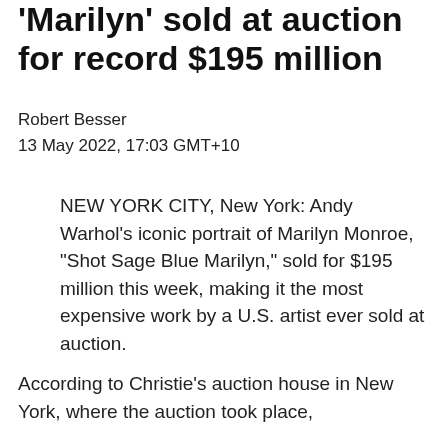'Marilyn' sold at auction for record $195 million
Robert Besser
13 May 2022, 17:03 GMT+10
NEW YORK CITY, New York: Andy Warhol's iconic portrait of Marilyn Monroe, "Shot Sage Blue Marilyn," sold for $195 million this week, making it the most expensive work by a U.S. artist ever sold at auction.
According to Christie's auction house in New York, where the auction took place,